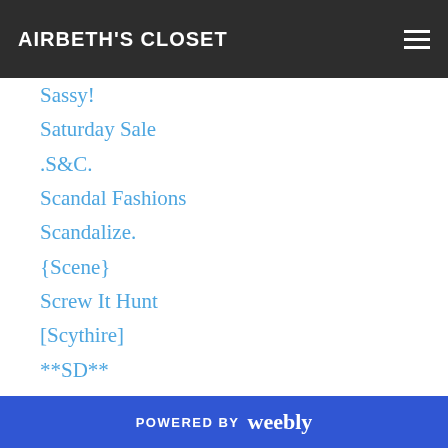AIRBETH'S CLOSET
Sassy!
Saturday Sale
.S&C.
Scandal Fashions
Scandalize.
{Scene}
Screw It Hunt
[Scythire]
**SD**
Secret Body
Secret Poses
SEmotion
Serendipity
Seul
Seul Garcon
POWERED BY weebly